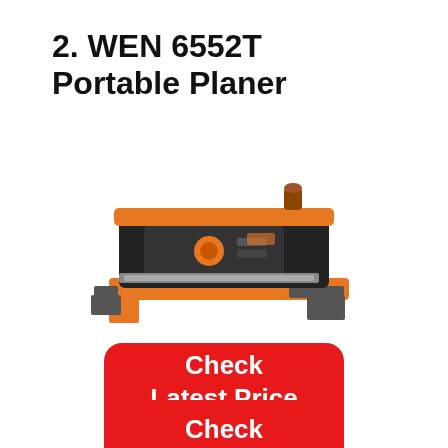2. WEN 6552T Portable Planer
[Figure (photo): WEN 6552T portable thickness planer shown from a slight angle, featuring an orange and black body with a flat feed table and a height adjustment knob on top.]
Check Latest Price on Amazon
Check